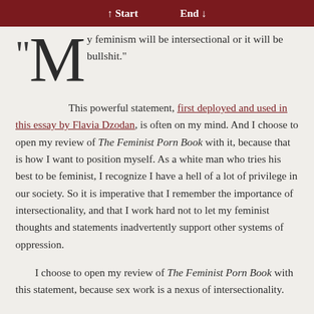↑ Start   End ↓
“My feminism will be intersectional or it will be bullshit.”
This powerful statement, first deployed and used in this essay by Flavia Dzodan, is often on my mind. And I choose to open my review of The Feminist Porn Book with it, because that is how I want to position myself. As a white man who tries his best to be feminist, I recognize I have a hell of a lot of privilege in our society. So it is imperative that I remember the importance of intersectionality, and that I work hard not to let my feminist thoughts and statements inadvertently support other systems of oppression.
I choose to open my review of The Feminist Porn Book with this statement, because sex work is a nexus of intersectionality.